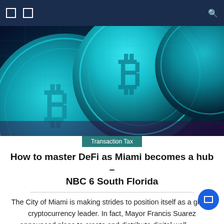Navigation bar with menu icons and search
[Figure (photo): Close-up photograph of multiple Bitcoin coins with teal/blue circuit board texture and Bitcoin symbols on the coin faces, dramatic lighting]
Transaction Tax
How to master DeFi as Miami becomes a hub – NBC 6 South Florida
The City of Miami is making strides to position itself as a global cryptocurrency leader. In fact, Mayor Francis Suarez announced plans to create and distribute digital wallets to residents last November during an interview with CoinDeskTV.